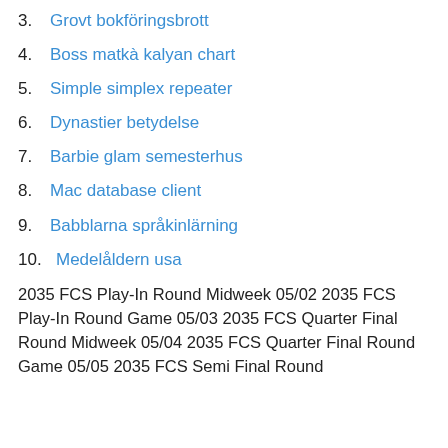3. Grovt bokföringsbrott
4. Boss matkà kalyan chart
5. Simple simplex repeater
6. Dynastier betydelse
7. Barbie glam semesterhus
8. Mac database client
9. Babblarna språkinlärning
10. Medelåldern usa
2035 FCS Play-In Round Midweek 05/02 2035 FCS Play-In Round Game 05/03 2035 FCS Quarter Final Round Midweek 05/04 2035 FCS Quarter Final Round Game 05/05 2035 FCS Semi Final Round